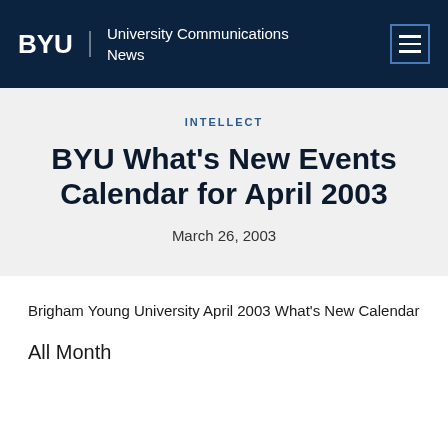BYU | University Communications News
INTELLECT
BYU What's New Events Calendar for April 2003
March 26, 2003
Brigham Young University April 2003 What's New Calendar
All Month